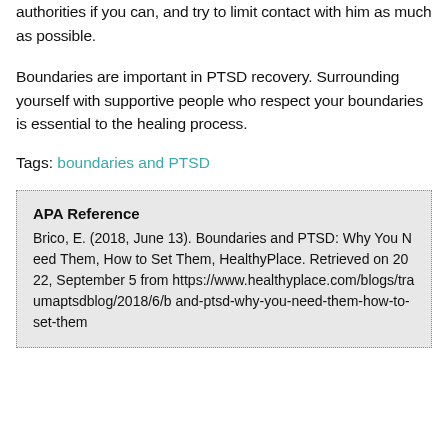authorities if you can, and try to limit contact with him as much as possible.
Boundaries are important in PTSD recovery. Surrounding yourself with supportive people who respect your boundaries is essential to the healing process.
Tags: boundaries and PTSD
APA Reference
Brico, E. (2018, June 13). Boundaries and PTSD: Why You Need Them, How to Set Them, HealthyPlace. Retrieved on 2022, September 5 from https://www.healthyplace.com/blogs/traumaptsdblog/2018/6/b and-ptsd-why-you-need-them-how-to-set-them